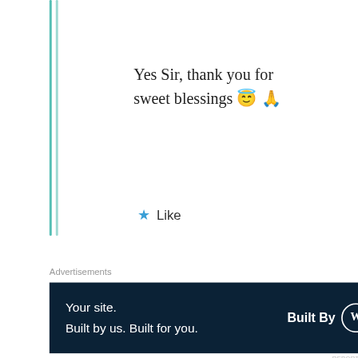Yes Sir, thank you for sweet blessings 😇 🙏
Like
Advertisements
[Figure (screenshot): Advertisement banner: dark navy background with white text 'Your site. Built by us. Built for you.' and 'Built By' with WordPress logo on the right]
REPORT THIS AD
Sowmya
Privacy & Cookies: This site uses cookies. By continuing to use this website, you agree to their use. To find out more, including how to control cookies, see here: Cookie Policy
Close and accept
Simply superb Suma